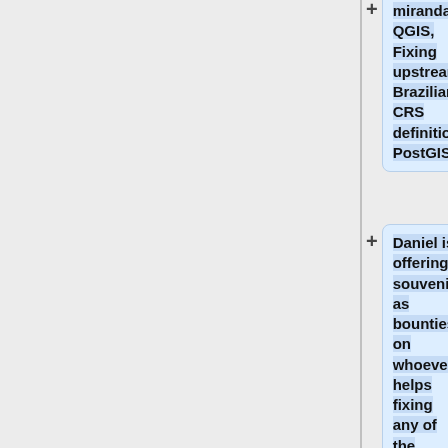miranda QGIS, Fixing upstream Brazilian CRS definitions, PostGIS
Daniel is offering souvenirs as bounties on whoever helps fixing any of the following:
http hub.qgis.org issues 10758
http hub.qgis.org issues 10155
http hub.qgis.org issues 3239